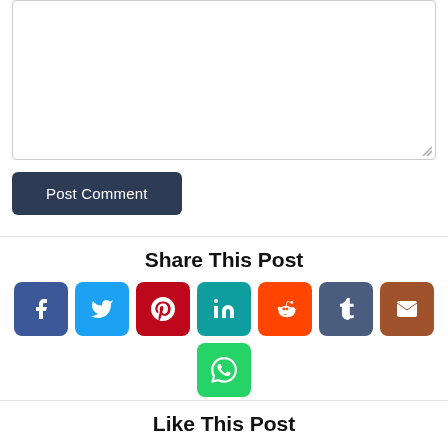[Figure (screenshot): Comment textarea input box with resize handle]
Post Comment
Share This Post
[Figure (infographic): Social media share buttons: Facebook (blue), Twitter (light blue), Pinterest (red), LinkedIn (teal), Reddit (orange), Tumblr (dark blue-grey), Email (brown), WhatsApp (green)]
Like This Post